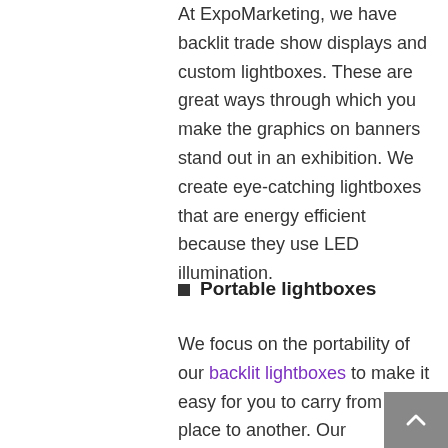At ExpoMarketing, we have backlit trade show displays and custom lightboxes. These are great ways through which you make the graphics on banners stand out in an exhibition. We create eye-catching lightboxes that are energy efficient because they use LED illumination.
Portable lightboxes
We focus on the portability of our backlit lightboxes to make it easy for you to carry from one place to another. Our lightboxes are compact and designed to fit with cases for easy